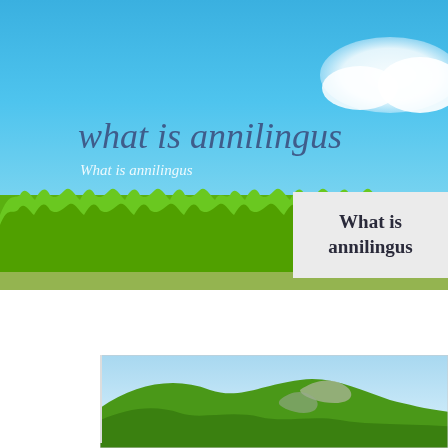[Figure (photo): Blue sky with white cloud in top right, green grass foreground, nature scene background for webpage header]
what is annilingus
What is annilingus
What is annilingus
[Figure (photo): Green rolling hills landscape under blue sky, bottom section of webpage]